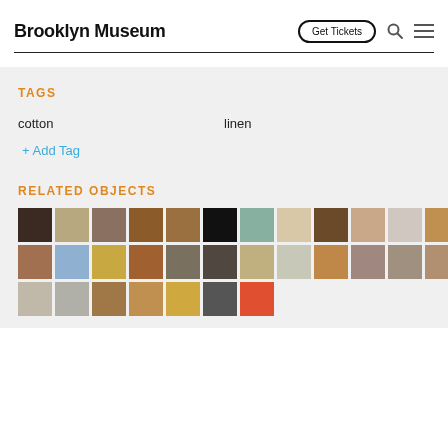Brooklyn Museum
TAGS
cotton
linen
+ Add Tag
RELATED OBJECTS
[Figure (photo): Grid of museum object thumbnail images showing ceramics, textiles, sculptures, and other artifacts]